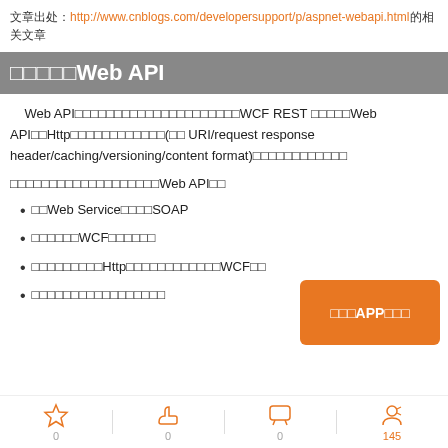文章出处：http://www.cnblogs.com/developersupport/p/aspnet-webapi.html的相关文章
为什么选择Web API
Web API是一个非常棒的用来构建HTTP服务的框架，可以以很简单的方法来建立WCF REST Service。Web API以Http协议为基础，使用Http的动词(如 URI/request response header/caching/versioning/content format)对资源进行操作。
如果你想创建资源导向的服务，那么Web API是一个不错的选择。
原先Web Service仅支持SOAP
使用WCF时太复杂
需要一个轻量的Http服务，不必搭建复杂的WCF框架
提供基于Http协议的服务接口